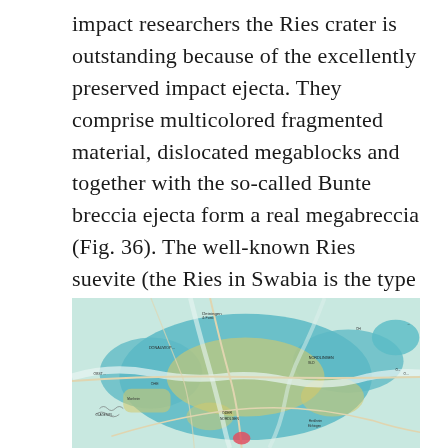impact researchers the Ries crater is outstanding because of the excellently preserved impact ejecta. They comprise multicolored fragmented material, dislocated megablocks and together with the so-called Bunte breccia ejecta form a real megabreccia (Fig. 36). The well-known Ries suevite (the Ries in Swabia is the type locality for this impact rock also typical for the Spanish impact structures [1]) occurs as a big layer within the crater but exists also as ejecta deposits.
[Figure (map): Geological/topographical map of the Ries crater area showing colored regions (teal/blue, yellow-green, white) indicating different geological formations, with road networks, place names, and geographic features labeled.]